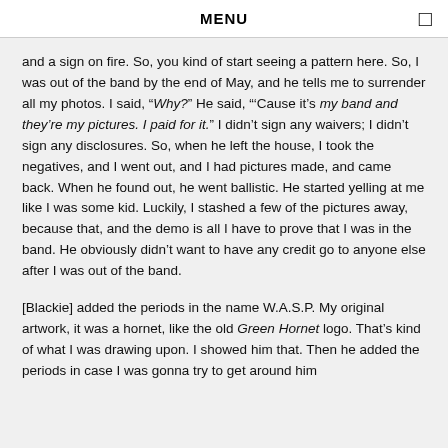MENU
and a sign on fire. So, you kind of start seeing a pattern here. So, I was out of the band by the end of May, and he tells me to surrender all my photos. I said, “Why?” He said, “’Cause it’s my band and they’re my pictures. I paid for it.” I didn’t sign any waivers; I didn’t sign any disclosures. So, when he left the house, I took the negatives, and I went out, and I had pictures made, and came back. When he found out, he went ballistic. He started yelling at me like I was some kid. Luckily, I stashed a few of the pictures away, because that, and the demo is all I have to prove that I was in the band. He obviously didn’t want to have any credit go to anyone else after I was out of the band.
[Blackie] added the periods in the name W.A.S.P. My original artwork, it was a hornet, like the old Green Hornet logo. That’s kind of what I was drawing upon. I showed him that. Then he added the periods in case I was gonna try to get around him